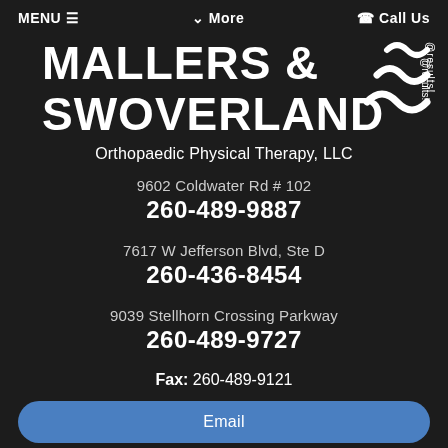MENU ≡   ∨ More   ☎ Call Us
[Figure (logo): Mallers & Swoverland logo with stylized squiggle/wave graphic and text 'results!']
Orthopaedic Physical Therapy, LLC
9602 Coldwater Rd # 102
260-489-9887
7617 W Jefferson Blvd, Ste D
260-436-8454
9039 Stellhorn Crossing Parkway
260-489-9727
Fax: 260-489-9121
Email